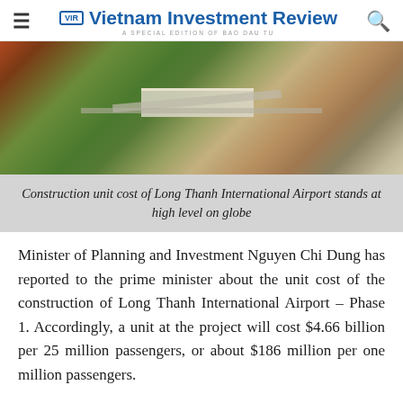Vietnam Investment Review — A SPECIAL EDITION OF BAO DAU TU
[Figure (photo): Aerial view of Long Thanh International Airport construction site showing runways, taxiways, terminal buildings, and surrounding green fields.]
Construction unit cost of Long Thanh International Airport stands at high level on globe
Minister of Planning and Investment Nguyen Chi Dung has reported to the prime minister about the unit cost of the construction of Long Thanh International Airport – Phase 1. Accordingly, a unit at the project will cost $4.66 billion per 25 million passengers, or about $186 million per one million passengers.